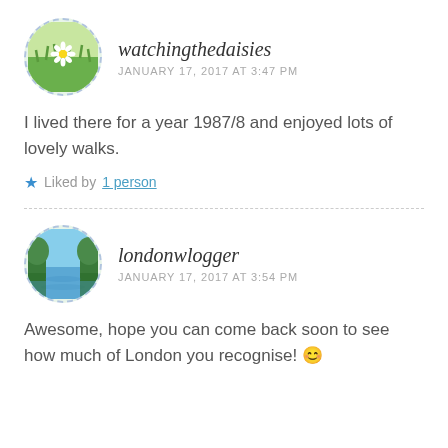[Figure (photo): Circular avatar with dashed border showing a field of green grass and yellow daisy flowers, for user watchingthedaisies]
watchingthedaisies
JANUARY 17, 2017 AT 3:47 PM
I lived there for a year 1987/8 and enjoyed lots of lovely walks.
★ Liked by 1 person
[Figure (photo): Circular avatar with dashed border showing a scenic view of a calm river or lake with trees and blue sky, for user londonwlogger]
londonwlogger
JANUARY 17, 2017 AT 3:54 PM
Awesome, hope you can come back soon to see how much of London you recognise! 😊